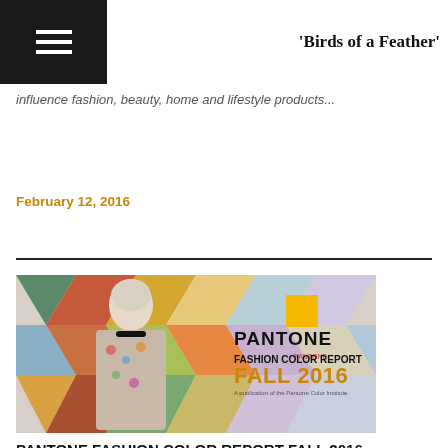'Birds of a Feather'
influence fashion, beauty, home and lifestyle products...
February 12, 2016
[Figure (photo): Pantone Fashion Color Report Fall 2016 cover image featuring a fashion illustration of a woman in colorful geometric background with Pantone branding]
PANTONE FASHION COLOR REPORT FALL 2016